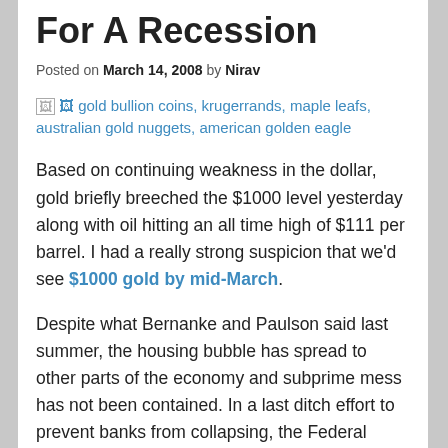For A Recession
Posted on March 14, 2008 by Nirav
[Figure (photo): Broken image placeholder with alt text: gold bullion coins, krugerrands, maple leafs, australian gold nuggets, american golden eagle]
Based on continuing weakness in the dollar, gold briefly breeched the $1000 level yesterday along with oil hitting an all time high of $111 per barrel. I had a really strong suspicion that we'd see $1000 gold by mid-March.
Despite what Bernanke and Paulson said last summer, the housing bubble has spread to other parts of the economy and subprime mess has not been contained. In a last ditch effort to prevent banks from collapsing, the Federal Reserve announced a bailout of Fannie Mae, Freddie Mac…